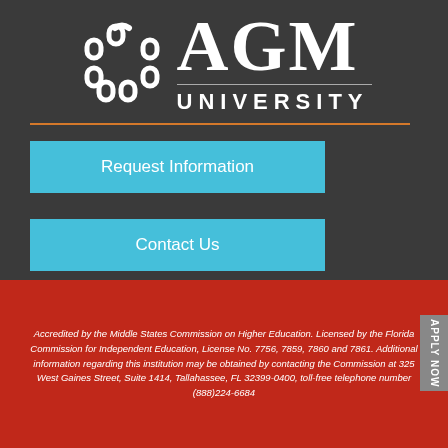[Figure (logo): AGM University logo with circular chain-link icon in white on dark background, with AGM in large bold serif font and UNIVERSITY in spaced sans-serif below a horizontal rule]
Request Information
Contact Us
Accredited by the Middle States Commission on Higher Education. Licensed by the Florida Commission for Independent Education, License No. 7756, 7859, 7860 and 7861. Additional information regarding this institution may be obtained by contacting the Commission at 325 West Gaines Street, Suite 1414, Tallahassee, FL 32399-0400, toll-free telephone number (888)224-6684